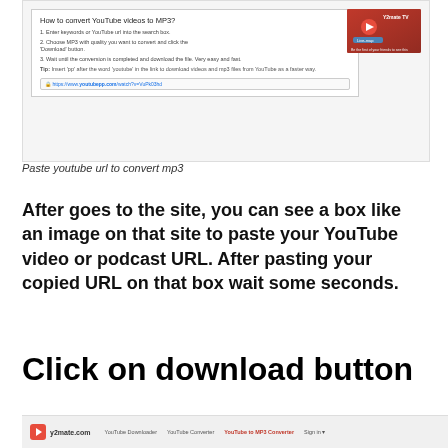[Figure (screenshot): Screenshot of a website showing 'How to convert YouTube videos to MP3?' instructions with numbered steps and a tip, plus a URL bar showing youtubepp.com, and a thumbnail image of Y2mate TV on the right.]
Paste youtube url to convert mp3
After goes to the site, you can see a box like an image on that site to paste your YouTube video or podcast URL. After pasting your copied URL on that box wait some seconds.
Click on download button
[Figure (screenshot): Bottom portion of y2mate.com website showing logo, site name, and navigation links: YouTube Downloader, YouTube Converter, YouTube to MP3 Converter, Sign in.]